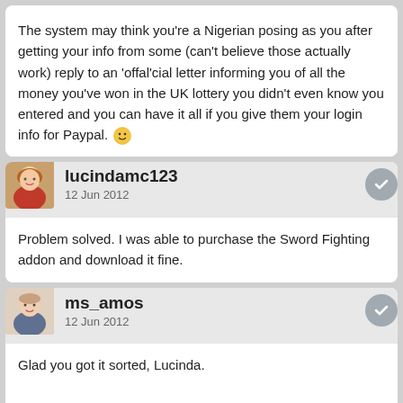The system may think you're a Nigerian posing as you after getting your info from some (can't believe those actually work) reply to an 'offal'cial letter informing you of all the money you've won in the UK lottery you didn't even know you entered and you can have it all if you give them your login info for Paypal. 🙂
lucindamc123
12 Jun 2012
Problem solved. I was able to purchase the Sword Fighting addon and download it fine.
ms_amos
12 Jun 2012
Glad you got it sorted, Lucinda.

QUOTE (primaveranz @ Jun 11 2012, 09:41 PM)
<{POST_SNAPBACK}>
Ooh I love new stuff and this looks excellent.
Now I just have to figure out how to buy it, since PayPal say they have no record of issues with my Credit Card but their guest card system still refuses to let me buy things!